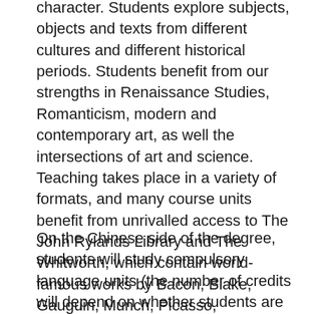character. Students explore subjects, objects and texts from different cultures and different historical periods. Students benefit from our strengths in Renaissance Studies, Romanticism, modern and contemporary art, as well the intersections of art and science. Teaching takes place in a variety of formats, and many course units benefit from unrivalled access to The John Rylands Library and The Whitworth, which contain world-famous works by Bacon, Blake, Gauguin, Munch, Picasso, Rembrandt, Turner, Van Gogh and other major artists. Teaching is supported by cutting-edge research: REF (2014) placed us in the top three Art History Departments in the UK.
On the Chinese side of the degree, students will study compulsory language units (the number of credits will depend on whether students are ab-initio or post-A-Level and whether they are studying European or non-European languages) and the study of the culture and history of a specific region.